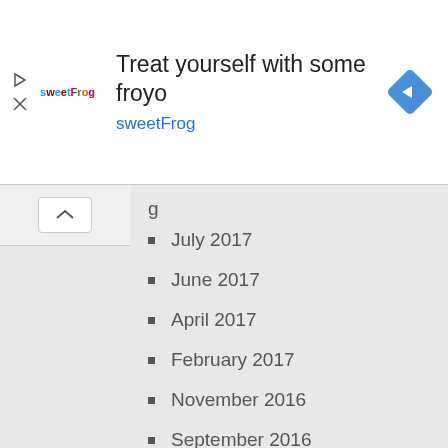[Figure (infographic): SweetFrog advertisement banner with logo, text 'Treat yourself with some froyo sweetFrog', and a blue diamond navigation icon]
July 2017
June 2017
April 2017
February 2017
November 2016
September 2016
August 2016
October 2015
June 2015
February 2015
August 2014
June 2014
March 2014